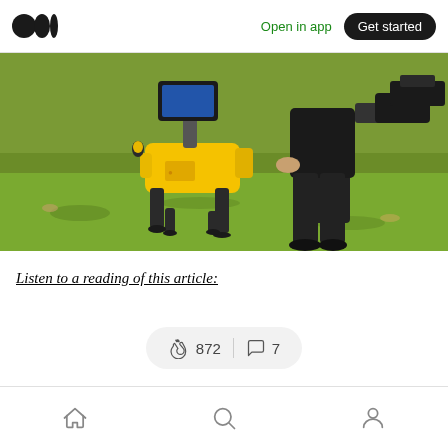Open in app | Get started
[Figure (photo): A yellow Boston Dynamics Spot robot dog with a tablet mounted on top, standing on grass next to a person dressed in black clothing. The person appears to be holding a camera or equipment.]
Listen to a reading of this article:
872 claps | 7 comments
Home | Search | Profile